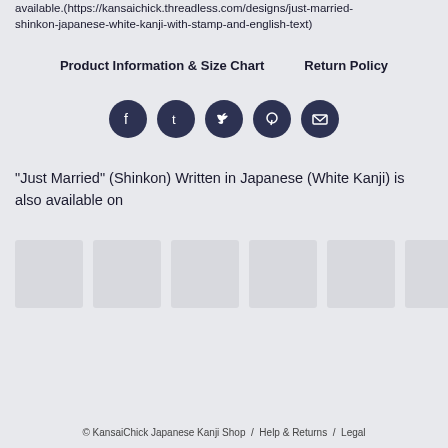available.(https://kansaichick.threadless.com/designs/just-married-shinkon-japanese-white-kanji-with-stamp-and-english-text)
Product Information & Size Chart    Return Policy
[Figure (other): Row of 5 social media icon buttons (Facebook, Tumblr, Twitter, Pinterest, Email) as dark circular icons]
"Just Married" (Shinkon) Written in Japanese (White Kanji) is also available on
[Figure (other): Row of 6 light gray placeholder thumbnail images]
© KansaiChick Japanese Kanji Shop  /  Help & Returns  /  Legal